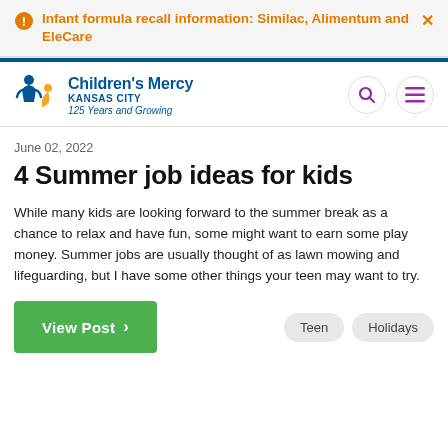Infant formula recall information: Similac, Alimentum and EleCare
[Figure (logo): Children's Mercy Kansas City logo with figure icon and text '125 Years and Growing']
June 02, 2022
4 Summer job ideas for kids
While many kids are looking forward to the summer break as a chance to relax and have fun, some might want to earn some play money. Summer jobs are usually thought of as lawn mowing and lifeguarding, but I have some other things your teen may want to try.
View Post
Teen  Holidays